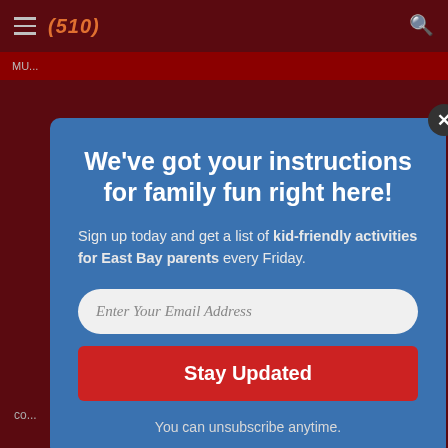[Figure (screenshot): Dark red website background with navigation bar showing hamburger menu and logo]
We've got your instructions for family fun right here!
Sign up today and get a list of kid-friendly activities for East Bay parents every Friday.
Enter Your Email Address
Stay Updated
You can unsubscribe anytime.